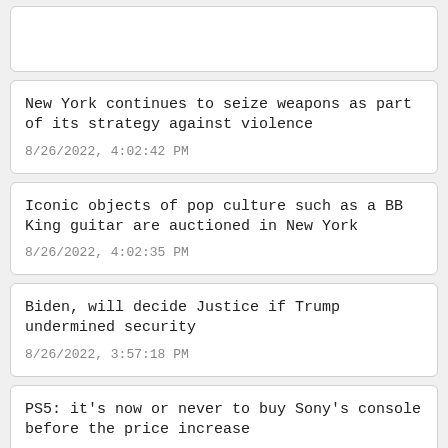New York continues to seize weapons as part of its strategy against violence
8/26/2022, 4:02:42 PM
Iconic objects of pop culture such as a BB King guitar are auctioned in New York
8/26/2022, 4:02:35 PM
Biden, will decide Justice if Trump undermined security
8/26/2022, 3:57:18 PM
PS5: it's now or never to buy Sony's console before the price increase
8/26/2022, 3:56:41 PM